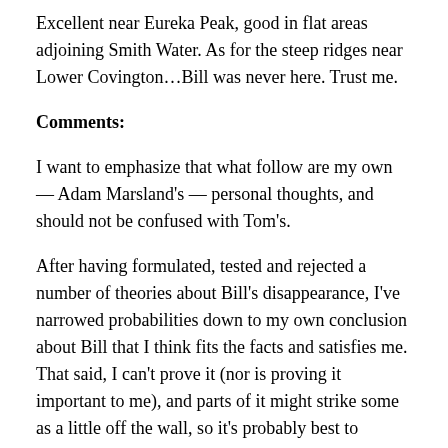Excellent near Eureka Peak, good in flat areas adjoining Smith Water. As for the steep ridges near Lower Covington…Bill was never here. Trust me.
Comments:
I want to emphasize that what follow are my own — Adam Marsland's — personal thoughts, and should not be confused with Tom's.
After having formulated, tested and rejected a number of theories about Bill's disappearance, I've narrowed probabilities down to my own conclusion about Bill that I think fits the facts and satisfies me. That said, I can't prove it (nor is proving it important to me), and parts of it might strike some as a little off the wall, so it's probably best to continue to keep my own mind open and not influence other peoples' conclusions with my own.